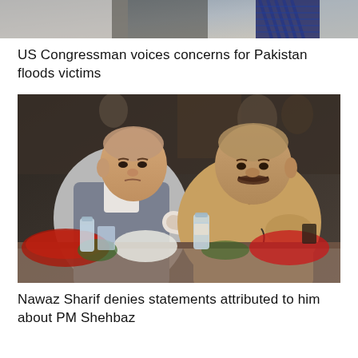[Figure (photo): Partial top image showing a person in a suit with a patterned tie, cropped at the top of the page]
US Congressman voices concerns for Pakistan floods victims
[Figure (photo): Two older men sitting at a table with flowers. The man on the left wears a grey vest over white kurta, and the man on the right wears a tan shirt and holds glasses. They are shaking hands. Water bottles visible on the table.]
Nawaz Sharif denies statements attributed to him about PM Shehbaz